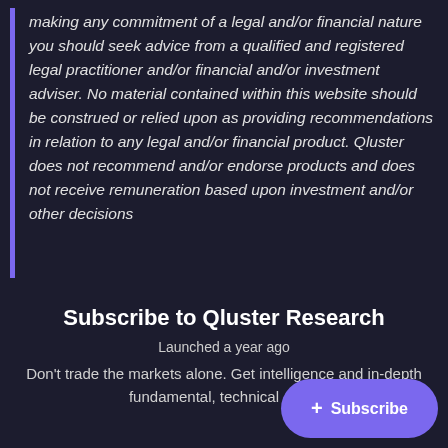making any commitment of a legal and/or financial nature you should seek advice from a qualified and registered legal practitioner and/or financial and/or investment adviser. No material contained within this website should be construed or relied upon as providing recommendations in relation to any legal and/or financial product. Qluster does not recommend and/or endorse products and does not receive remuneration based upon investment and/or other decisions
Subscribe to Qluster Research
Launched a year ago
Don't trade the markets alone. Get intelligence and in-depth fundamental, technical & on-